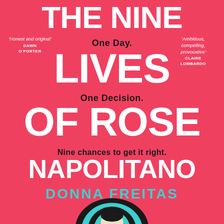[Figure (illustration): Book cover for 'The Nine Lives of Rose Napolitano' by Donna Freitas on a coral/salmon red background, featuring an illustrated woman's head with layered teal/black hair stripes, with blurbs and taglines.]
THE NINE LIVES OF ROSE NAPOLITANO
One Day. One Decision. Nine chances to get it right.
'Honest and original' DAWN O'PORTER
'Ambitious, compelling, provocative' CLAIRE LOMBARDO
DONNA FREITAS